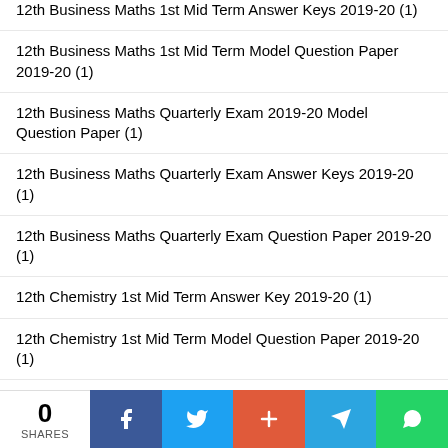12th Business Maths 1st Mid Term Answer Keys 2019-20 (1)
12th Business Maths 1st Mid Term Model Question Paper 2019-20 (1)
12th Business Maths Quarterly Exam 2019-20 Model Question Paper (1)
12th Business Maths Quarterly Exam Answer Keys 2019-20 (1)
12th Business Maths Quarterly Exam Question Paper 2019-20 (1)
12th Chemistry 1st Mid Term Answer Key 2019-20 (1)
12th Chemistry 1st Mid Term Model Question Paper 2019-20 (1)
12th Chemistry Half Yearly 2019-20 (1)
12th Chemistry Half Yearly Answer Keys 2019-20 (1)
12th Chemistry Half Yearly Model Question Paper 2019-20 (1)
0 SHARES | Facebook | Twitter | + | Telegram | WhatsApp